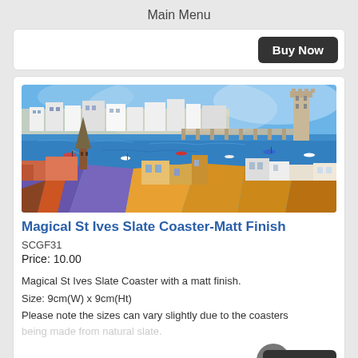Main Menu
[Figure (illustration): Colorful painting of St Ives harbour with rooftops, church spires, boats in the water, and buildings on hillside]
Magical St Ives Slate Coaster-Matt Finish
SCGF31
Price: 10.00
Magical St Ives Slate Coaster with a matt finish.
Size: 9cm(W) x 9cm(Ht)
Please note the sizes can vary slightly due to the coasters